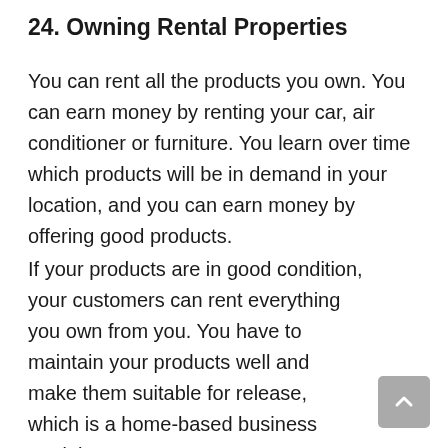24. Owning Rental Properties
You can rent all the products you own. You can earn money by renting your car, air conditioner or furniture. You learn over time which products will be in demand in your location, and you can earn money by offering good products.
If your products are in good condition, your customers can rent everything you own from you. You have to maintain your products well and make them suitable for release, which is a home-based business model.